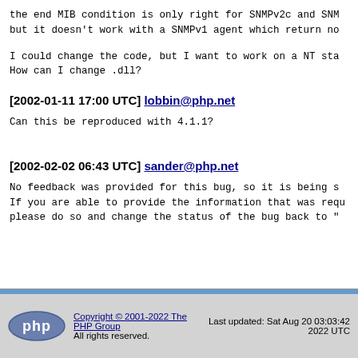the end MIB condition is only right for SNMPv2c and SNM but it doesn't work with a SNMPv1 agent which return no
I could change the code, but I want to work on a NT sta How can I change .dll?
[2002-01-11 17:00 UTC] lobbin@php.net
Can this be reproduced with 4.1.1?
[2002-02-02 06:43 UTC] sander@php.net
No feedback was provided for this bug, so it is being s If you are able to provide the information that was requ please do so and change the status of the bug back to "
Copyright © 2001-2022 The PHP Group All rights reserved. Last updated: Sat Aug 20 03:03:42 2022 UTC